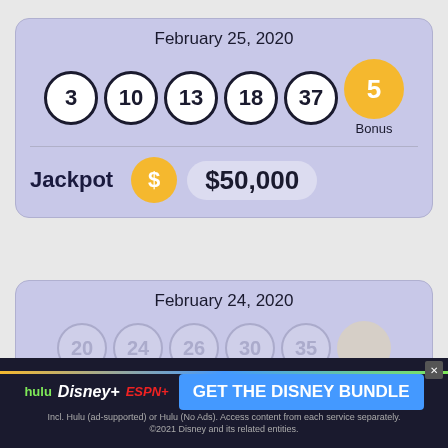February 25, 2020
[Figure (infographic): Lottery draw result for February 25, 2020 showing balls numbered 3, 10, 13, 18, 37, and Bonus ball 5 (gold). Jackpot shown as $50,000.]
February 24, 2020
[Figure (infographic): Partially visible lottery draw result for February 24, 2020, with faded/obscured ball numbers.]
[Figure (infographic): Advertisement banner: hulu Disney+ ESPN+ GET THE DISNEY BUNDLE. Incl. Hulu (ad-supported) or Hulu (No Ads). Access content from each service separately. ©2021 Disney and its related entities.]